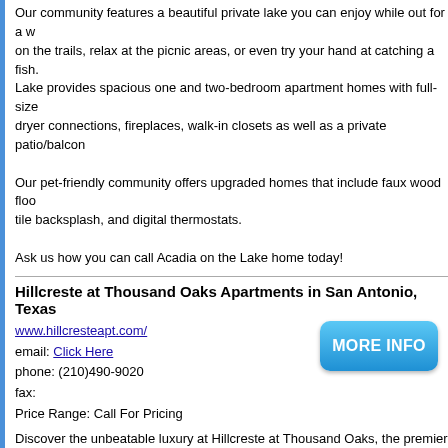Our community features a beautiful private lake you can enjoy while out for a walk on the trails, relax at the picnic areas, or even try your hand at catching a fish. Acadia on the Lake provides spacious one and two-bedroom apartment homes with full-size washer and dryer connections, fireplaces, walk-in closets as well as a private patio/balcony.
Our pet-friendly community offers upgraded homes that include faux wood floors, tile backsplash, and digital thermostats.
Ask us how you can call Acadia on the Lake home today!
Hillcreste at Thousand Oaks Apartments in San Antonio, Texas
www.hillcresteapt.com/
email: Click Here
phone: (210)490-9020
fax:
Price Range: Call For Pricing
Discover the unbeatable luxury at Hillcreste at Thousand Oaks, the premier apartment community in San Antonio, Texas. Our centrally-located, comfortable apartment community puts you exactly where you want to be with both individual and community amenities that make you feel right at home. Inside your new home, the most stylish interiors await, boasting features like fireplaces, walk-in closets, and private patios or balconies - all implemented to give your apartment with a unique, welcoming character. There's no end to the benefits when you live at Hillcreste at Thousand Oaks in San Antonio!
Sereno Park Apartments in San Antonio, Texas
www.serenopark-apts.com
email: Click Here
phone: (210)648-6700
fax: (210)648-6704